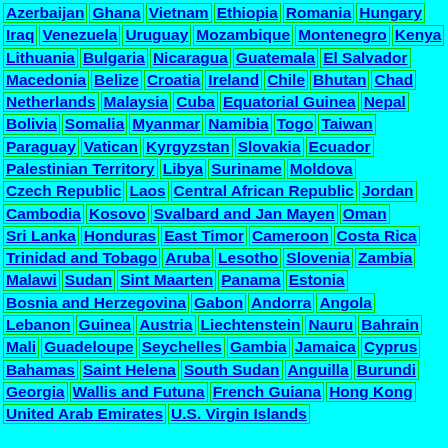Azerbaijan Ghana Vietnam Ethiopia Romania Hungary Iraq Venezuela Uruguay Mozambique Montenegro Kenya Lithuania Bulgaria Nicaragua Guatemala El Salvador Macedonia Belize Croatia Ireland Chile Bhutan Chad Netherlands Malaysia Cuba Equatorial Guinea Nepal Bolivia Somalia Myanmar Namibia Togo Taiwan Paraguay Vatican Kyrgyzstan Slovakia Ecuador Palestinian Territory Libya Suriname Moldova Czech Republic Laos Central African Republic Jordan Cambodia Kosovo Svalbard and Jan Mayen Oman Sri Lanka Honduras East Timor Cameroon Costa Rica Trinidad and Tobago Aruba Lesotho Slovenia Zambia Malawi Sudan Sint Maarten Panama Estonia Bosnia and Herzegovina Gabon Andorra Angola Lebanon Guinea Austria Liechtenstein Nauru Bahrain Mali Guadeloupe Seychelles Gambia Jamaica Cyprus Bahamas Saint Helena South Sudan Anguilla Burundi Georgia Wallis and Futuna French Guiana Hong Kong United Arab Emirates U.S. Virgin Islands